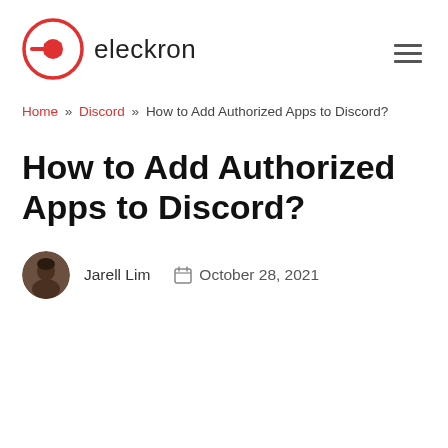[Figure (logo): Eleckron website logo: red circular icon with plug/arrow symbol and text 'eleckron']
Home » Discord » How to Add Authorized Apps to Discord?
How to Add Authorized Apps to Discord?
Jarell Lim   October 28, 2021